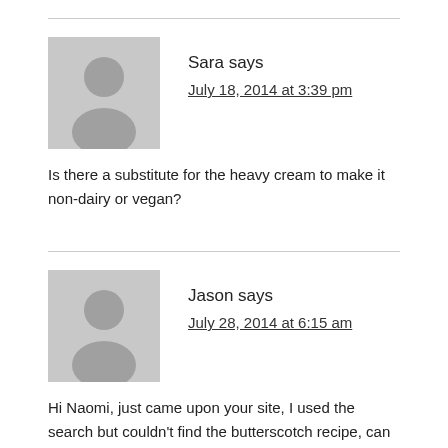Sara says
July 18, 2014 at 3:39 pm
Is there a substitute for the heavy cream to make it non-dairy or vegan?
Jason says
July 28, 2014 at 6:15 am
Hi Naomi, just came upon your site, I used the search but couldn't find the butterscotch recipe, can you direct me to it? Great stuff.